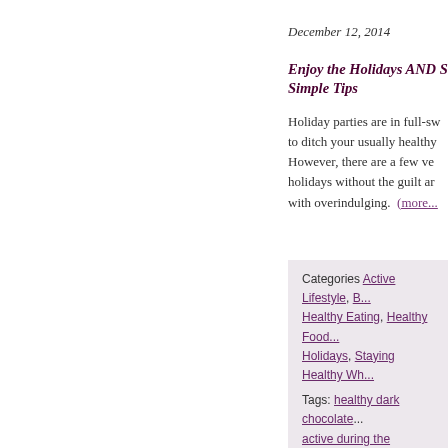December 12, 2014
Enjoy the Holidays AND S... Simple Tips
Holiday parties are in full-sw... to ditch your usually healthy... However, there are a few ve... holidays without the guilt ar... with overindulging.  (more...)
Categories Active Lifestyle, B... Healthy Eating, Healthy Food... Holidays, Staying Healthy Wh...
Tags: healthy dark chocolate... active during the holidays